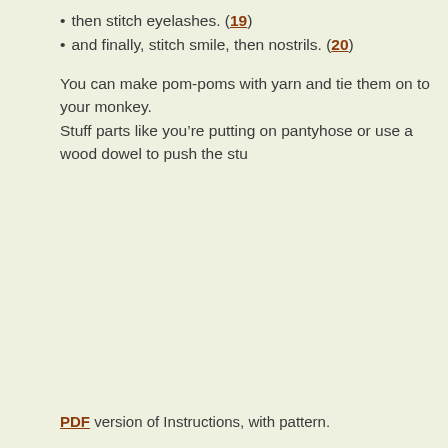then stitch eyelashes. (19)
and finally, stitch smile, then nostrils. (20)
You can make pom-poms with yarn and tie them on to your monkey.
Stuff parts like you’re putting on pantyhose or use a wood dowel to push the stu
PDF version of Instructions, with pattern.